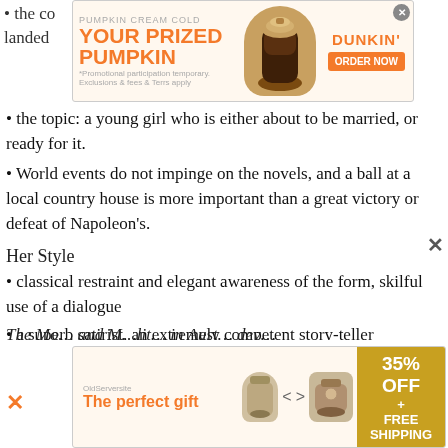• the co[untry landed …] country landed …
[Figure (screenshot): Dunkin advertisement: YOUR PRIZED PUMPKIN with pumpkin cream cold brew image and ORDER NOW button]
• the topic: a young girl who is either about to be married, or ready for it.
• World events do not impinge on the novels, and a ball at a local country house is more important than a great victory or defeat of Napoleon's.
Her Style
• classical restraint and elegant awareness of the form, skilful use of a dialogue
• a superb satirist, an extremely competent story-teller
• she makes us feel that we know her characters.
The Mo… and M…lit… in Aust… dev…
[Figure (screenshot): Advertisement: The perfect gift — 35% OFF + FREE SHIPPING with food product image]